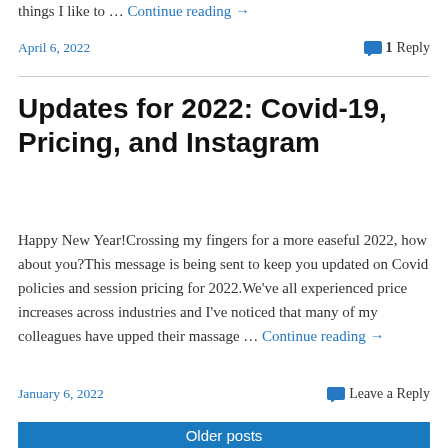things I like to … Continue reading →
April 6, 2022   1 Reply
Updates for 2022: Covid-19, Pricing, and Instagram
Happy New Year!Crossing my fingers for a more easeful 2022, how about you?This message is being sent to keep you updated on Covid policies and session pricing for 2022.We've all experienced price increases across industries and I've noticed that many of my colleagues have upped their massage … Continue reading →
January 6, 2022   Leave a Reply
Older posts